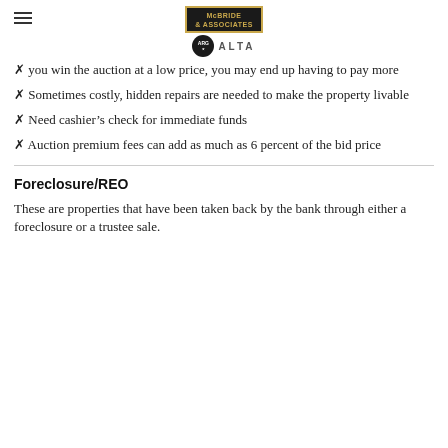McBride & Associates | ALTA
you win the auction at a low price, you may end up having to pay more
Sometimes costly, hidden repairs are needed to make the property livable
Need cashier's check for immediate funds
Auction premium fees can add as much as 6 percent of the bid price
Foreclosure/REO
These are properties that have been taken back by the bank through either a foreclosure or a trustee sale.